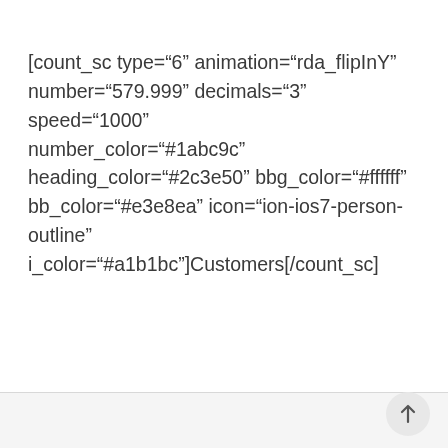[count_sc type="6" animation="rda_flipInY" number="579.999" decimals="3" speed="1000" number_color="#1abc9c" heading_color="#2c3e50" bbg_color="#ffffff" bb_color="#e3e8ea" icon="ion-ios7-person-outline" i_color="#a1b1bc"]Customers[/count_sc]